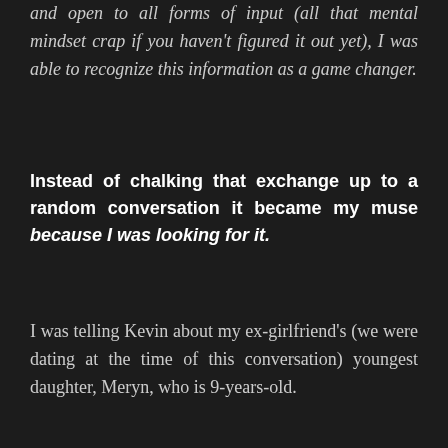and open to all forms of input (all that mental mindset crap if you haven't figured it out yet), I was able to recognize this information as a game changer.
Instead of chalking that exchange up to a random conversation it became my muse because I was looking for it.
I was telling Kevin about my ex-girlfriend's (we were dating at the time of this conversation) youngest daughter, Meryn, who is 9-years-old.